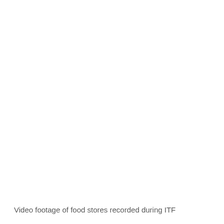Video footage of food stores recorded during ITF